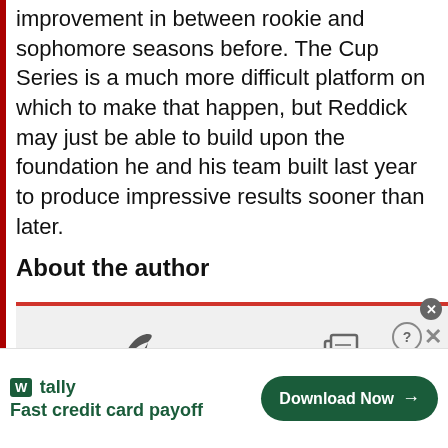improvement in between rookie and sophomore seasons before. The Cup Series is a much more difficult platform on which to make that happen, but Reddick may just be able to build upon the foundation he and his team built last year to produce impressive results sooner than later.
About the author
[Figure (screenshot): Author card UI widget with a red top border on the left panel showing a feather/pen icon, and a document/copy icon on the right panel, both on a light gray background]
[Figure (screenshot): Tally advertisement bar: 'Fast credit card payoff' with a Download Now button and close/help controls]